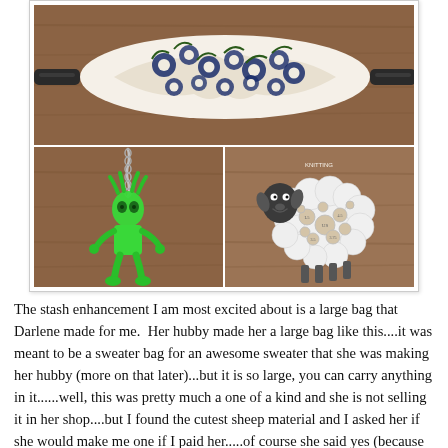[Figure (photo): A collage of three photos: top shows a blue and white floral sleep eye mask on a wooden surface; bottom left shows a green glow-in-the-dark alien/figure keychain on a chain; bottom right shows a knitting gauge/needle sizer tool in the shape of a sheep.]
The stash enhancement I am most excited about is a large bag that Darlene made for me.  Her hubby made her a large bag like this....it was meant to be a sweater bag for an awesome sweater that she was making her hubby (more on that later)...but it is so large, you can carry anything in it......well, this was pretty much a one of a kind and she is not selling it in her shop....but I found the cutest sheep material and I asked her if she would make me one if I paid her.....of course she said yes (because she is awesome) and I am